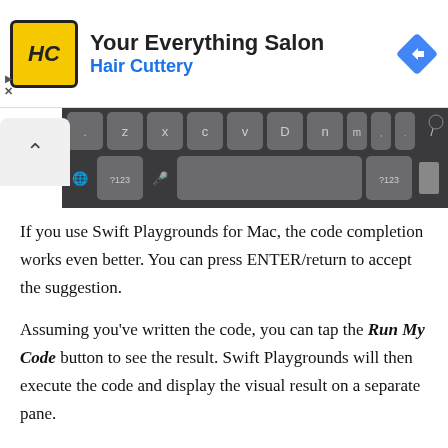[Figure (screenshot): Hair Cuttery 'Your Everything Salon' advertisement banner with yellow HC logo, navigation arrow icon, and play/close controls]
[Figure (screenshot): iOS keyboard screenshot showing bottom keyboard row with keys: period, z, x, c, v, D, n, m, comma, period, slash, and bottom row with globe, ?123, microphone, spacebar, ?123, and keyboard icon]
If you use Swift Playgrounds for Mac, the code completion works even better. You can press ENTER/return to accept the suggestion.
Assuming you’ve written the code, you can tap the Run My Code button to see the result. Swift Playgrounds will then execute the code and display the visual result on a separate pane.